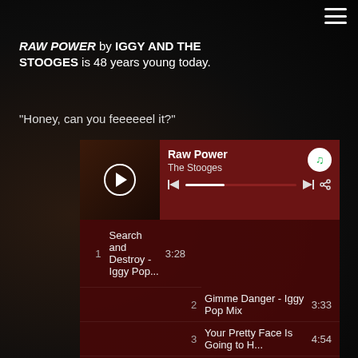RAW POWER by IGGY AND THE STOOGES is 48 years young today.
“Honey, can you feeeeeel it?”
[Figure (screenshot): Spotify player card showing Raw Power by The Stooges with dark red background, album art with play button, skip controls, and progress bar with Spotify logo]
| # | Track | Duration |
| --- | --- | --- |
| 1 | Search and Destroy - Iggy Pop... | 3:28 |
| 2 | Gimme Danger - Iggy Pop Mix | 3:33 |
| 3 | Your Pretty Face Is Going to H... | 4:54 |
| 4 | Penetration - Iggy Pop Mix | 3:41 |
| 5 | Raw Power - Iggy Pop Mix | 4:16 |
| 6 | I Need Somebody - Iggy Pop ... | 4:52 |
| 7 | Shake Appeal - Iggy Pop Mix | 3:04 |
| 8 | Death Trip - Iggy Pop Mix | 6:07 |